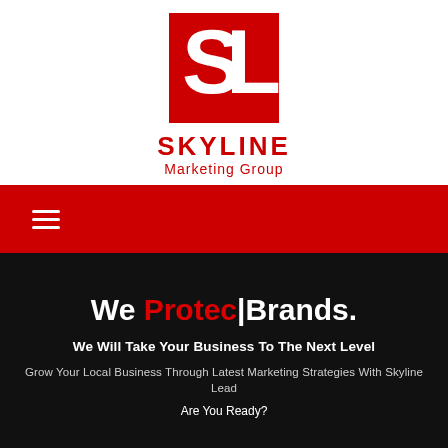[Figure (logo): Skyline Marketing Group logo — red square with white S and L letters, company name below in red]
[Figure (other): Red navigation bar with white hamburger menu icon]
We Protec| Brands.
We Will Take Your Business To The Next Level
Grow Your Local Business Through Latest Marketing Strategies With Skyline Lead
Are You Ready?